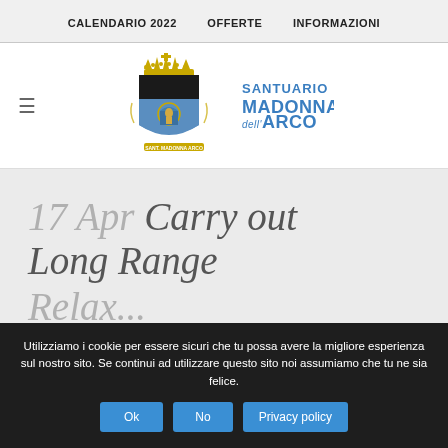CALENDARIO 2022   OFFERTE   INFORMAZIONI
[Figure (logo): Santuario Madonna dell'Arco logo — coat of arms shield with crown on the left, and text 'SANTUARIO MADONNA dell'ARCO' in blue on the right]
17 Apr Carry out Long Range
Utilizziamo i cookie per essere sicuri che tu possa avere la migliore esperienza sul nostro sito. Se continui ad utilizzare questo sito noi assumiamo che tu ne sia felice.